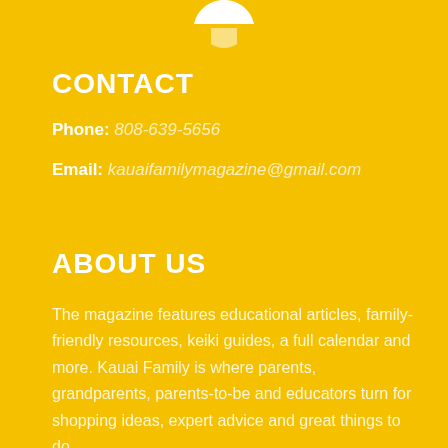[Figure (logo): Partial logo visible at top center of page, white curved shape on yellow background]
CONTACT
Phone: 808-639-5656
Email: kauaifamilymagazine@gmail.com
ABOUT US
The magazine features educational articles, family-friendly resources, keiki guides, a full calendar and more. Kauai Family is where parents, grandparents, parents-to-be and educators turn for shopping ideas, expert advice and great things to do